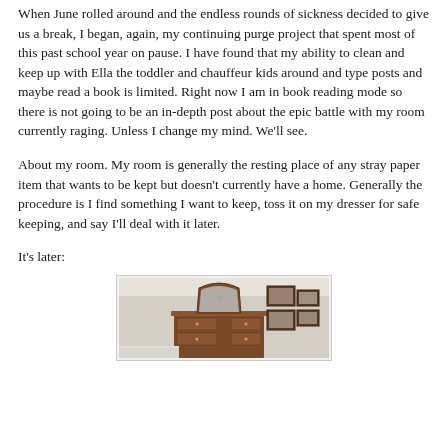When June rolled around and the endless rounds of sickness decided to give us a break, I began, again, my continuing purge project that spent most of this past school year on pause. I have found that my ability to clean and keep up with Ella the toddler and chauffeur kids around and type posts and maybe read a book is limited. Right now I am in book reading mode so there is not going to be an in-depth post about the epic battle with my room currently raging. Unless I change my mind. We'll see.
About my room. My room is generally the resting place of any stray paper item that wants to be kept but doesn't currently have a home. Generally the procedure is I find something I want to keep, toss it on my dresser for safe keeping, and say I'll deal with it later.
It's later:
[Figure (photo): Bedroom photo showing a wooden dresser with an arched mirror, and framed photos on the wall to the right. The room has light-colored walls and appears to be a master bedroom.]